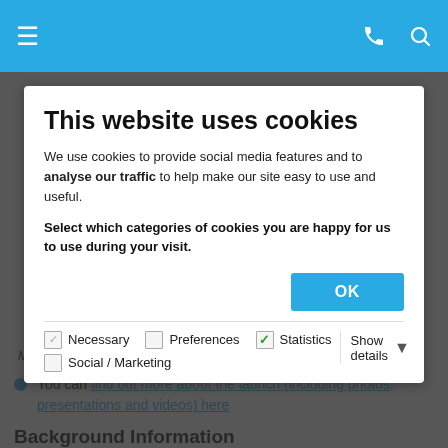Navigation bar with hamburger menu, phone and search icons
[Figure (screenshot): Cookie consent modal dialog overlaying a website. Title: 'This website uses cookies'. Body text: 'We use cookies to provide social media features and to analyse our traffic to help make our site easy to use and useful. Select which categories of cookies you are happy for us to use during your visit.' OK button. Checkboxes: Necessary (checked), Preferences (unchecked), Statistics (checked green), Social/Marketing (unchecked). Show details dropdown.]
Mary's University College, Belfast.
You can find out more about the launch (including photos, presentations and videos) here
Background Information